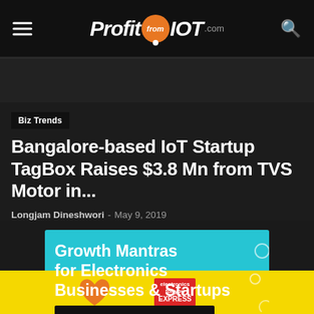ProfitfromIOT.com
Bangalore-based IoT Startup TagBox Raises $3.8 Mn from TVS Motor in...
Longjam Dineshwori - May 9, 2019
[Figure (illustration): Advertisement banner for 'Growth Mantras for Electronics Businesses & Startups' with a cyan/teal background, a black button reading 'TO DISCOVER, CLICK HERE', decorative circles, and a yellow triangle in the corner. Below is a yellow strip with a heart shape and an Electronics Express magazine badge.]